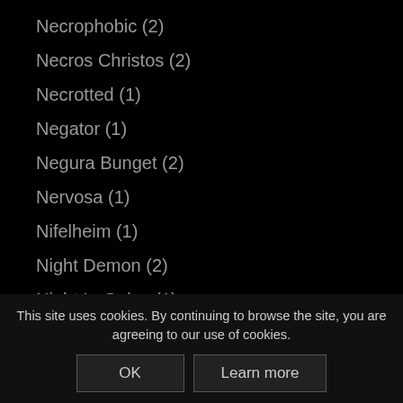Necrophobic (2)
Necros Christos (2)
Necrotted (1)
Negator (1)
Negura Bunget (2)
Nervosa (1)
Nifelheim (1)
Night Demon (2)
Night In Gales (1)
Night Laser (1)
Nightingale (1)
Nightwish (3)
Nile (2)
Nitrogods (1)
No Return (1)
Nocturnal Witc...
Nordicrant (1)
This site uses cookies. By continuing to browse the site, you are agreeing to our use of cookies.
OK
Learn more